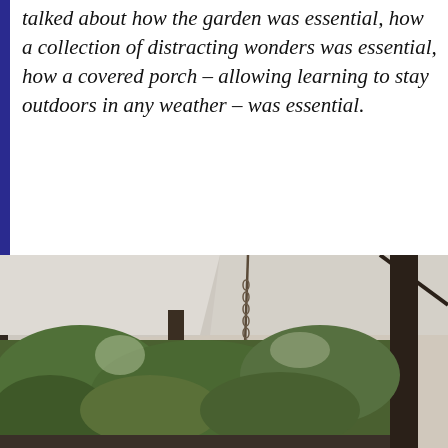talked about how the garden was essential, how a collection of distracting wonders was essential, how a covered porch – allowing learning to stay outdoors in any weather – was essential.
Timeless Learning: How Imagination, Observation, and Zero-Based Thinking Change Schools
[Figure (photo): Photo of a covered porch interior showing white ceiling, hanging chain with a plant, dark structural columns, and green trees visible outside through the open sides.]